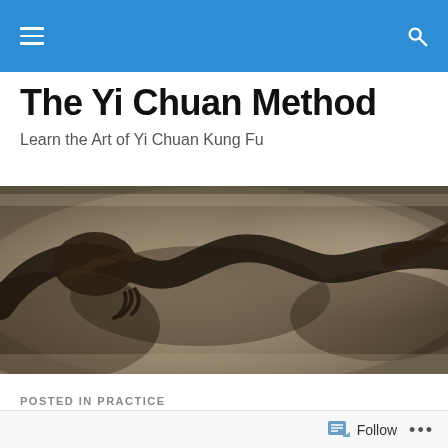Navigation bar with menu and search icons
The Yi Chuan Method
Learn the Art of Yi Chuan Kung Fu
[Figure (photo): Wide horizontal banner image depicting a traditional Chinese dragon painting in sepia/dark tones against a misty background]
POSTED IN PRACTICE
Standing with Purpose
Follow ...